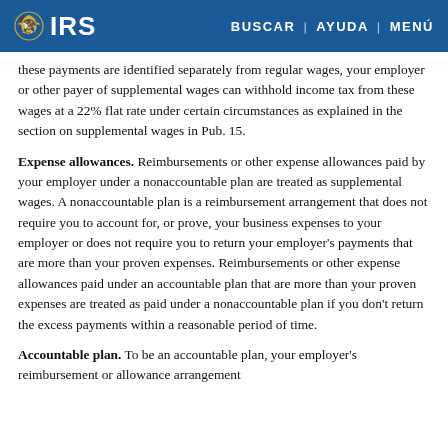IRS | BUSCAR | AYUDA | MENÚ
these payments are identified separately from regular wages, your employer or other payer of supplemental wages can withhold income tax from these wages at a 22% flat rate under certain circumstances as explained in the section on supplemental wages in Pub. 15.
Expense allowances. Reimbursements or other expense allowances paid by your employer under a nonaccountable plan are treated as supplemental wages. A nonaccountable plan is a reimbursement arrangement that does not require you to account for, or prove, your business expenses to your employer or does not require you to return your employer's payments that are more than your proven expenses. Reimbursements or other expense allowances paid under an accountable plan that are more than your proven expenses are treated as paid under a nonaccountable plan if you don't return the excess payments within a reasonable period of time.
Accountable plan. To be an accountable plan, your employer's reimbursement or allowance arrangement must...